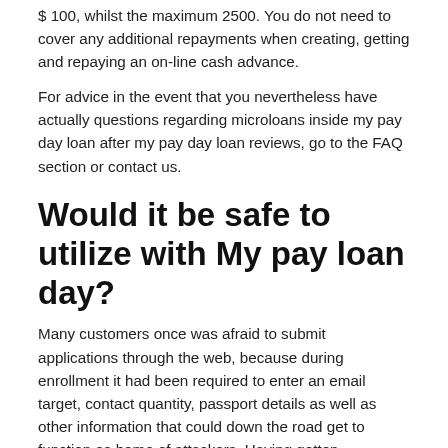$ 100, whilst the maximum 2500. You do not need to cover any additional repayments when creating, getting and repaying an on-line cash advance.
For advice in the event that you nevertheless have actually questions regarding microloans inside my pay day loan after my pay day loan reviews, go to the FAQ section or contact us.
Would it be safe to utilize with My pay loan day?
Many customers once was afraid to submit applications through the web, because during enrollment it had been required to enter an email target, contact quantity, passport details as well as other information that could down the road get to function as home of attackers. Having gotten information that is individual the debtor, the website cracker could easily get that loan, extort money if not poison the life span span connected with debtor.
But today, my payday loan review show that safe online loans